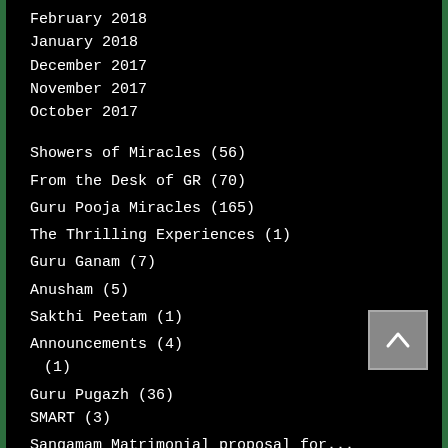February 2018
January 2018
December 2017
November 2017
October 2017
Showers of Miracles (56)
From the Desk of GR (70)
Guru Pooja Miracles (165)
The Thrilling Experiences (1)
Guru Ganam (7)
Anusham (5)
Sakthi Peetam (1)
Announcements (4)
(1)
Guru Pugazh (36)
SMART (3)
Sangamam Matrimonial proposal for...